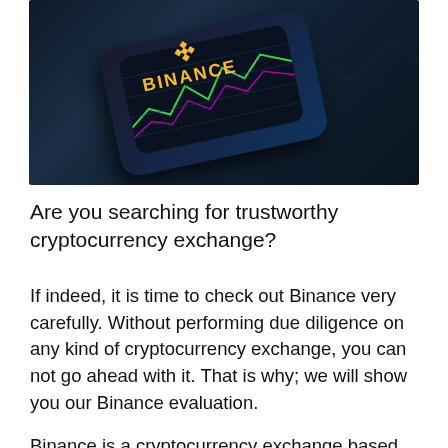[Figure (photo): A dark smartphone displaying the Binance cryptocurrency exchange logo (yellow 'Binance' text and logo mark) on its screen, placed on a surface with green and pink trading chart lines visible, against a dark blue background.]
Are you searching for trustworthy cryptocurrency exchange?
If indeed, it is time to check out Binance very carefully. Without performing due diligence on any kind of cryptocurrency exchange, you can not go ahead with it. That is why; we will show you our Binance evaluation.
Binance is a cryptocurrency exchange based